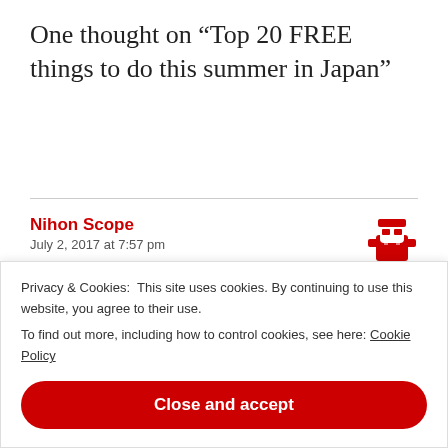One thought on “Top 20 FREE things to do this summer in Japan”
Nihon Scope
July 2, 2017 at 7:57 pm
[Figure (illustration): Red ninja avatar icon]
That Toori is pretty awesome in Tokyo, and I’ve been pretty interested in checking out the Hokkaidai flower farms since I first read about them and saw pictures.
Privacy & Cookies:  This site uses cookies. By continuing to use this website, you agree to their use.
To find out more, including how to control cookies, see here: Cookie Policy
Close and accept